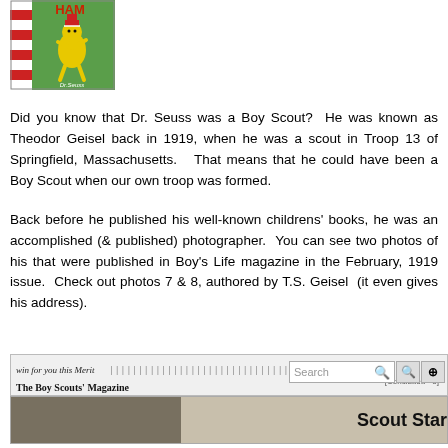[Figure (illustration): Dr. Seuss book cover showing a cartoon character (the Cat) in yellow on green background, with red and white striped hat/scarf, text 'HAM' visible at top and 'Dr. Seuss' at bottom]
Did you know that Dr. Seuss was a Boy Scout?  He was known as Theodor Geisel back in 1919, when he was a scout in Troop 13 of Springfield, Massachusetts.   That means that he could have been a Boy Scout when our own troop was formed.
Back before he published his well-known childrens' books, he was an accomplished (& published) photographer.  You can see two photos of his that were published in Boy's Life magazine in the February, 1919 issue.  Check out photos 7 & 8, authored by T.S. Geisel  (it even gives his address).
[Figure (screenshot): Screenshot of a magazine page search interface showing 'win for you this Merit' text, 'The Boy Scouts' Magazine' title, a search bar with magnifying glass icon, and zoom buttons. Below is a partial black and white photo with 'Scout Star' text visible.]